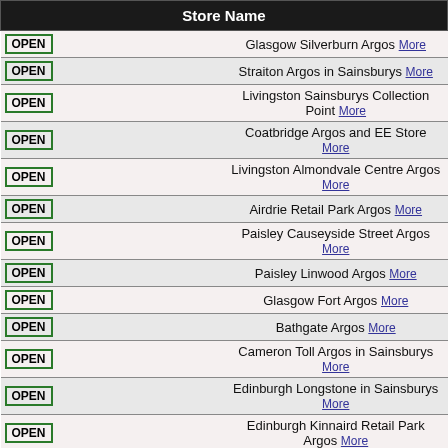| Store Name |
| --- |
| OPEN | Glasgow Silverburn Argos More |
| OPEN | Straiton Argos in Sainsburys More |
| OPEN | Livingston Sainsburys Collection Point More |
| OPEN | Coatbridge Argos and EE Store More |
| OPEN | Livingston Almondvale Centre Argos More |
| OPEN | Airdrie Retail Park Argos More |
| OPEN | Paisley Causeyside Street Argos More |
| OPEN | Paisley Linwood Argos More |
| OPEN | Glasgow Fort Argos More |
| OPEN | Bathgate Argos More |
| OPEN | Cameron Toll Argos in Sainsburys More |
| OPEN | Edinburgh Longstone in Sainsburys More |
| OPEN | Edinburgh Kinnaird Retail Park Argos More |
| OPEN | Causewayside Sainsburys Collect Point More |
| OPEN | Murrayfield Argos in Sainsburys More |
| OPEN | South Clerk St Sainsburys Collect Point More |
| OPEN | Edinburgh Dundee St Sainsburys Collect More |
| OPEN | Shandwick Place Sainsburys Collect Point More |
| OPEN | Edinburgh North Bridge Argos More |
| OPEN | Edinburgh St Andrews Sainsburys Collect More |
| OPEN | Edinburgh Blackhall Argos in Sainsburys More |
| OPEN | ... |